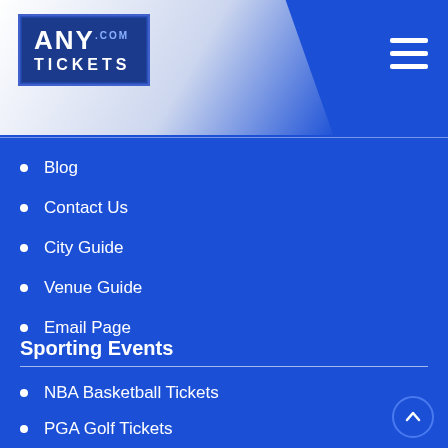[Figure (logo): AnyTickets.com logo — ticket stub graphic with blue background, bold white text reading ANY.COM / TICKETS]
Blog
Contact Us
City Guide
Venue Guide
Email Page
Sporting Events
NBA Basketball Tickets
PGA Golf Tickets
Tennis Tickets
NCAA Football Tickets
Soccer Tickets
Motorsports Tickets